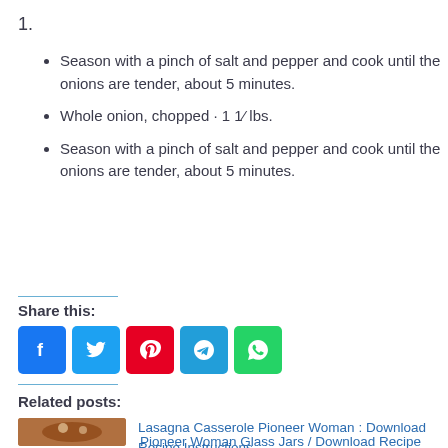1.
Season with a pinch of salt and pepper and cook until the onions are tender, about 5 minutes.
Whole onion, chopped · 1 1⁄ lbs.
Season with a pinch of salt and pepper and cook until the onions are tender, about 5 minutes.
Share this:
[Figure (infographic): Social share buttons: Facebook (blue), Twitter (light blue), Pinterest (red), Telegram (blue), WhatsApp (green)]
Related posts:
[Figure (photo): A cast iron skillet with lasagna casserole dish]
Lasagna Casserole Pioneer Woman : Download Recipe Instructions
Pioneer Woman Glass Jars / Download Recipe